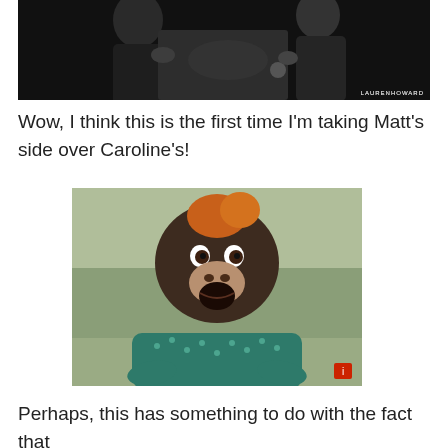[Figure (photo): Black and white photo of two people facing each other in a dramatic scene, with 'LAURENHOWARD' watermark in bottom right]
Wow, I think this is the first time I'm taking Matt's side over Caroline's!
[Figure (photo): A baby orangutan wearing a teal patterned sweater with a surprised/shocked expression, mouth open wide, looking directly at camera]
Perhaps, this has something to do with the fact that